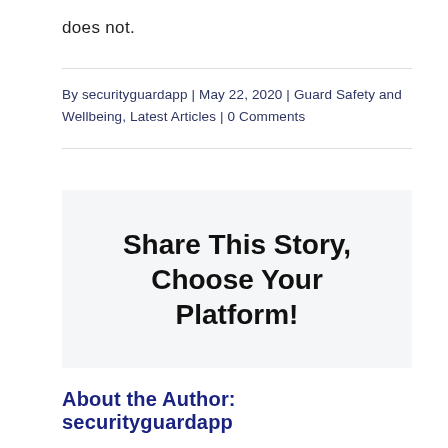does not.
By securityguardapp | May 22, 2020 | Guard Safety and Wellbeing, Latest Articles | 0 Comments
Share This Story, Choose Your Platform!
About the Author: securityguardapp